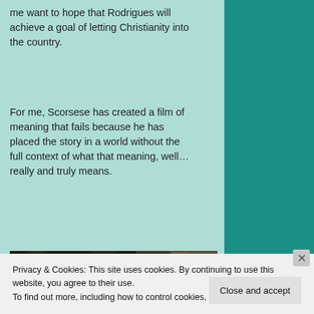me want to hope that Rodrigues will achieve a goal of letting Christianity into the country.
For me, Scorsese has created a film of meaning that fails because he has placed the story in a world without the full context of what that meaning, well... really and truly means.
[Figure (photo): A man in traditional Japanese black clothing seated, with candles and shoji screens in the background — a still from the film Silence]
Privacy & Cookies: This site uses cookies. By continuing to use this website, you agree to their use.
To find out more, including how to control cookies, see here: Cookie Policy
Close and accept